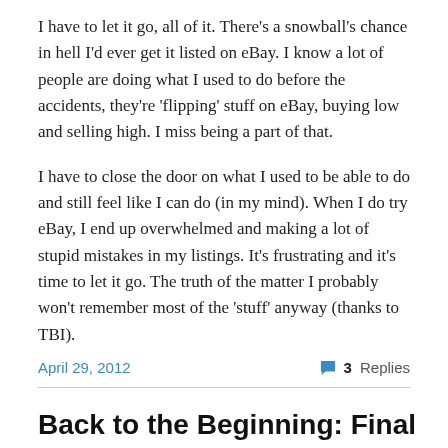I have to let it go, all of it.  There's a snowball's chance in hell I'd ever get it listed on eBay.  I know a lot of people are doing what I used to do before the accidents, they're 'flipping' stuff on eBay, buying low and selling high.  I miss being a part of that.
I have to close the door on what I used to be able to do and still feel like I can do (in my mind).  When I do try eBay, I end up overwhelmed and making a lot of stupid mistakes in my listings.  It's frustrating and it's time to let it go.  The truth of the matter I probably won't remember most of the 'stuff' anyway (thanks to TBI).
April 29, 2012
3 Replies
Back to the Beginning: Final